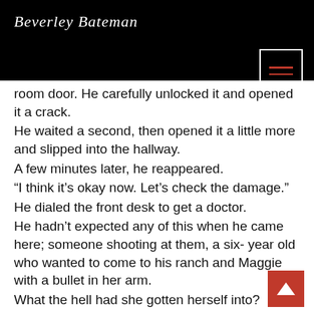Beverley Bateman
room door. He carefully unlocked it and opened it a crack. He waited a second, then opened it a little more and slipped into the hallway. A few minutes later, he reappeared. “I think it’s okay now. Let’s check the damage.” He dialed the front desk to get a doctor. He hadn’t expected any of this when he came here; someone shooting at them, a six- year old who wanted to come to his ranch and Maggie with a bullet in her arm. What the hell had she gotten herself into? how the hell could he protect her and her son?